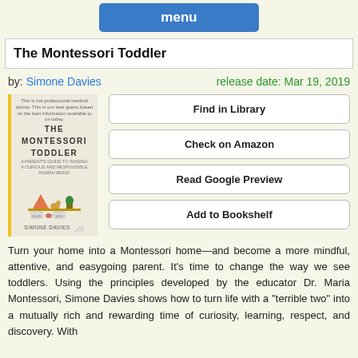menu
The Montessori Toddler
by: Simone Davies    release date: Mar 19, 2019
[Figure (illustration): Book cover of The Montessori Toddler by Simone Davies, with yellow spine border, title text, and small illustrated objects on a shelf]
Find in Library
Check on Amazon
Read Google Preview
Add to Bookshelf
Turn your home into a Montessori home—and become a more mindful, attentive, and easygoing parent. It's time to change the way we see toddlers. Using the principles developed by the educator Dr. Maria Montessori, Simone Davies shows how to turn life with a “terrible two” into a mutually rich and rewarding time of curiosity, learning, respect, and discovery. With